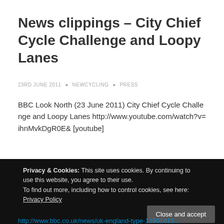News clippings – City Chief Cycle Challenge and Loopy Lanes
23RD JUNE 2011 • NEWCYCLING • PRESS
BBC Look North (23 June 2011) City Chief Cycle Challenge and Loopy Lanes http://www.youtube.com/watch?v=ihnMvkDgR0E&amp [youtube]
READ MORE
Privacy & Cookies: This site uses cookies. By continuing to use this website, you agree to their use.
To find out more, including how to control cookies, see here: Privacy Policy
Close and accept
http://www.bbc.co.uk/news/uk-england-type-12901411...